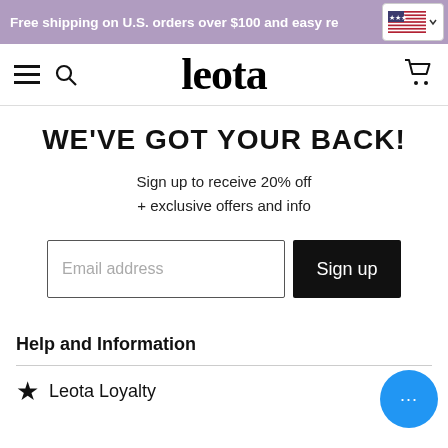Free shipping on U.S. orders over $100 and easy re[turns]
[Figure (logo): Leota brand logo in serif font]
WE'VE GOT YOUR BACK!
Sign up to receive 20% off
+ exclusive offers and info
[Figure (other): Email address input field and Sign up button]
Help and Information
Leota Loyalty